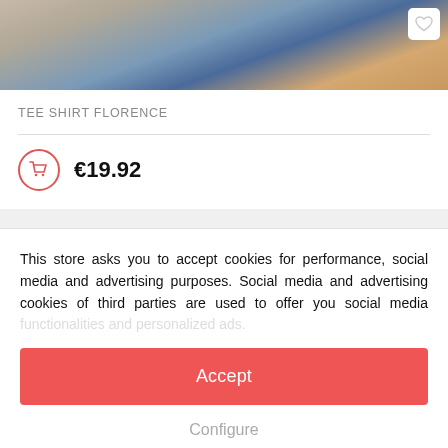[Figure (photo): Product photo showing person wearing jeans, partial body shot with warm background]
TEE SHIRT FLORENCE
€19.92
This store asks you to accept cookies for performance, social media and advertising purposes. Social media and advertising cookies of third parties are used to offer you social media functionalities and personalized ads.
Accept
Configure
Privacy & Cookie Policy